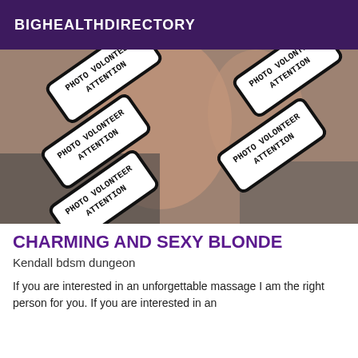BIGHEALTHDIRECTORY
[Figure (photo): Photo obscured by multiple overlapping 'PHOTO ATTENTION VOLONTEER' stamps/watermarks arranged diagonally over an image of a person]
CHARMING AND SEXY BLONDE
Kendall bdsm dungeon
If you are interested in an unforgettable massage I am the right person for you. If you are interested in an unforgettable massage the right person for you.